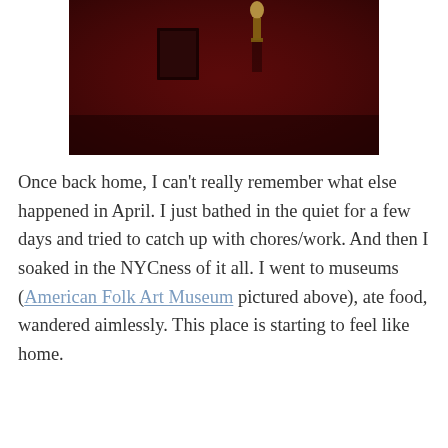[Figure (photo): A dark red/maroon museum gallery wall with two framed artworks visible and a small decorative object at the top center, dramatically lit against the deep red background.]
Once back home, I can't really remember what else happened in April. I just bathed in the quiet for a few days and tried to catch up with chores/work. And then I soaked in the NYCness of it all. I went to museums (American Folk Art Museum pictured above), ate food, wandered aimlessly. This place is starting to feel like home.